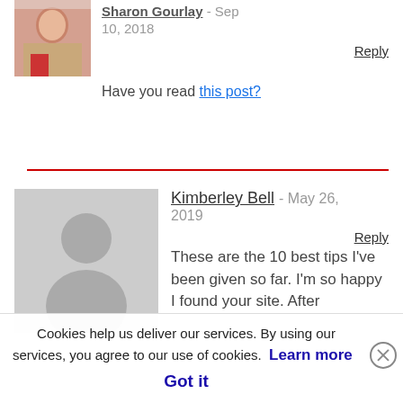Sharon Gourlay - Sep 10, 2018
Reply
Have you read this post?
[Figure (photo): Avatar photo of Sharon Gourlay, a woman with dark hair wearing a red top]
Kimberley Bell - May 26, 2019
Reply
[Figure (photo): Generic grey silhouette avatar placeholder for Kimberley Bell]
These are the 10 best tips I've been given so far. I'm so happy I found your site. After
Cookies help us deliver our services. By using our services, you agree to our use of cookies. Learn more  Got it